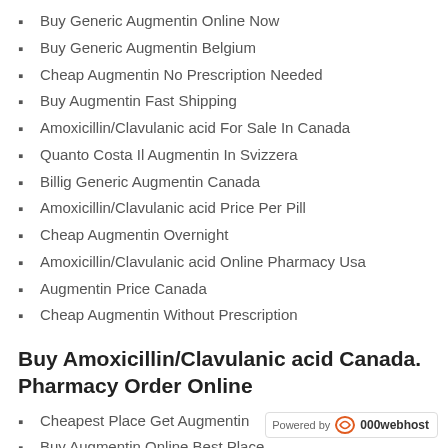Buy Generic Augmentin Online Now
Buy Generic Augmentin Belgium
Cheap Augmentin No Prescription Needed
Buy Augmentin Fast Shipping
Amoxicillin/Clavulanic acid For Sale In Canada
Quanto Costa Il Augmentin In Svizzera
Billig Generic Augmentin Canada
Amoxicillin/Clavulanic acid Price Per Pill
Cheap Augmentin Overnight
Amoxicillin/Clavulanic acid Online Pharmacy Usa
Augmentin Price Canada
Cheap Augmentin Without Prescription
Buy Amoxicillin/Clavulanic acid Canada. Pharmacy Order Online
Cheapest Place Get Augmentin
Buy Augmentin Online Best Place